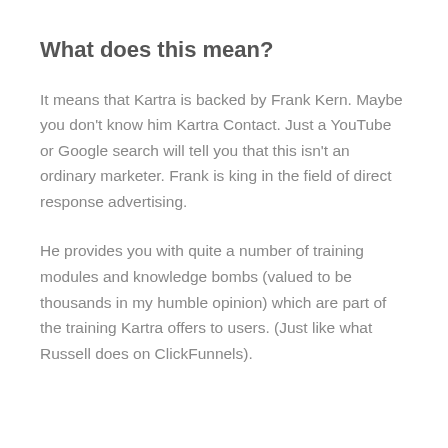What does this mean?
It means that Kartra is backed by Frank Kern. Maybe you don’t know him Kartra Contact. Just a YouTube or Google search will tell you that this isn’t an ordinary marketer. Frank is king in the field of direct response advertising.
He provides you with quite a number of training modules and knowledge bombs (valued to be thousands in my humble opinion) which are part of the training Kartra offers to users. (Just like what Russell does on ClickFunnels).